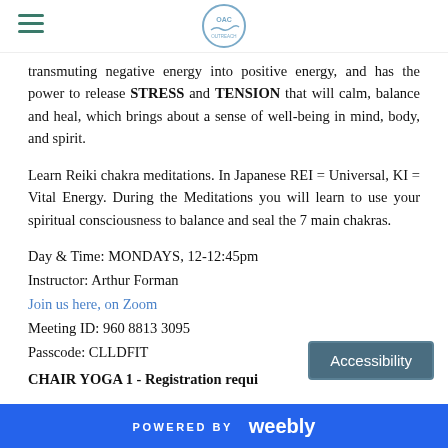OAC [logo]
transmuting negative energy into positive energy, and has the power to release STRESS and TENSION that will calm, balance and heal, which brings about a sense of well-being in mind, body, and spirit.
Learn Reiki chakra meditations. In Japanese REI = Universal, KI = Vital Energy. During the Meditations you will learn to use your spiritual consciousness to balance and seal the 7 main chakras.
Day & Time: MONDAYS, 12-12:45pm
Instructor: Arthur Forman
Join us here, on Zoom
Meeting ID: 960 8813 3095
Passcode: CLLDFIT
CHAIR YOGA 1 - Registration requi...
POWERED BY weebly